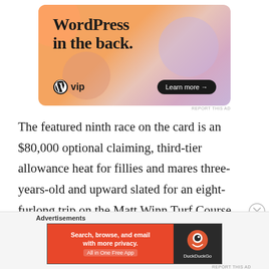[Figure (other): WordPress VIP advertisement banner with orange/pink gradient background. Large text reads 'WordPress in the back.' with WordPress VIP logo and 'Learn more →' button.]
The featured ninth race on the card is an $80,000 optional claiming, third-tier allowance heat for fillies and mares three-years-old and upward slated for an eight-furlong trip on the Matt Winn Turf Course.
[Figure (other): DuckDuckGo advertisement: 'Search, browse, and email with more privacy. All in One Free App' on orange background with DuckDuckGo logo on dark background.]